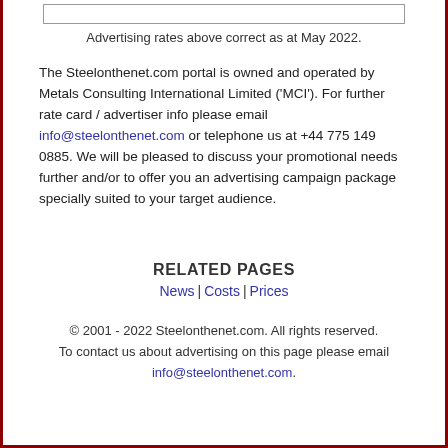Advertising rates above correct as at May 2022.
The Steelonthenet.com portal is owned and operated by Metals Consulting International Limited ('MCI'). For further rate card / advertiser info please email info@steelonthenet.com or telephone us at +44 775 149 0885. We will be pleased to discuss your promotional needs further and/or to offer you an advertising campaign package specially suited to your target audience.
RELATED PAGES
News | Costs | Prices
© 2001 - 2022 Steelonthenet.com. All rights reserved. To contact us about advertising on this page please email info@steelonthenet.com.